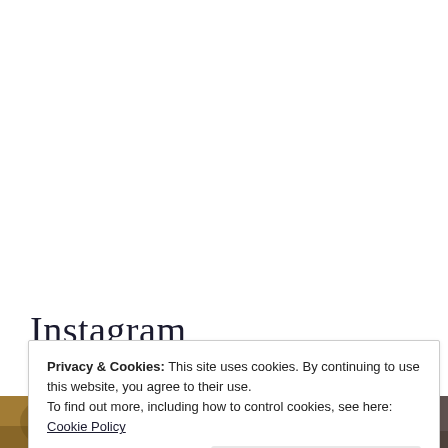Instagram
Privacy & Cookies: This site uses cookies. By continuing to use this website, you agree to their use.
To find out more, including how to control cookies, see here: Cookie Policy
Close and accept
[Figure (photo): Two thumbnail photos at the bottom of the page, partially visible]